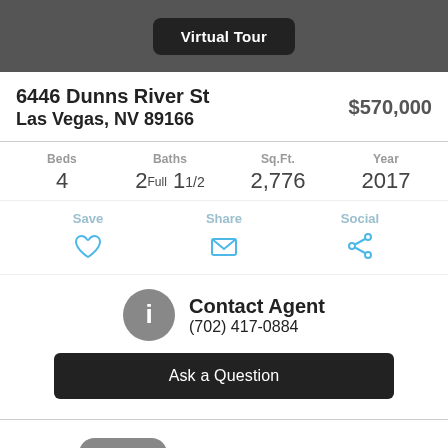Virtual Tour
6446 Dunns River St
Las Vegas, NV 89166
$570,000
Beds: 4 | Baths: 2 Full 1 1/2 | Sq.Ft.: 2,776 | Year: 2017
Save | Share | Social
Contact Agent
(702) 417-0884
Ask a Question
Status: Sold